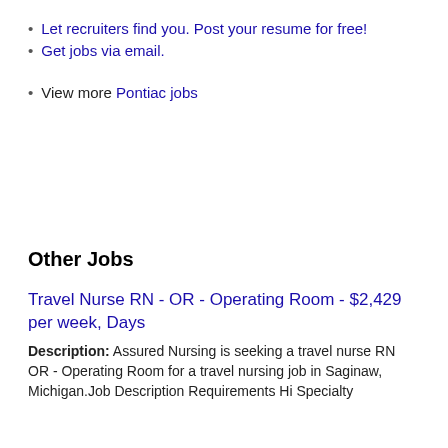Let recruiters find you. Post your resume for free!
Get jobs via email.
View more Pontiac jobs
Other Jobs
Travel Nurse RN - OR - Operating Room - $2,429 per week, Days
Description: Assured Nursing is seeking a travel nurse RN OR - Operating Room for a travel nursing job in Saginaw, Michigan.Job Description Requirements Hi Specialty